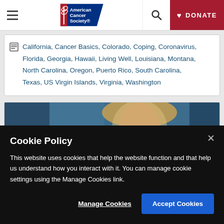American Cancer Society — DONATE
California, Cancer Basics, Colorado, Coping, Coronavirus, Florida, Georgia, Hawaii, Living Well, Louisiana, Montana, North Carolina, Oregon, Puerto Rico, South Carolina, Texas, US Virgin Islands, Virginia, Washington
[Figure (photo): Partial view of a woman with blonde hair, screenshot of website card]
Cookie Policy
This website uses cookies that help the website function and that help us understand how you interact with it. You can manage cookie settings using the Manage Cookies link.
Manage Cookies | Accept Cookies